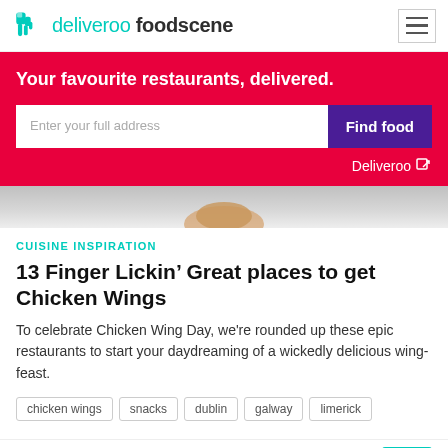deliveroo foodscene
Your favourite restaurants, delivered.
Enter your full address
Find food
Deliveroo
[Figure (photo): Partial image of food, likely chicken wings, on a grey background]
CUISINE INSPIRATION
13 Finger Lickin’ Great places to get Chicken Wings
To celebrate Chicken Wing Day, we're rounded up these epic restaurants to start your daydreaming of a wickedly delicious wing-feast.
chicken wings
snacks
dublin
galway
limerick